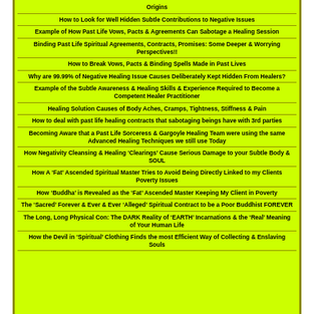Origins
How to Look for Well Hidden Subtle Contributions to Negative Issues
Example of How Past Life Vows, Pacts & Agreements Can Sabotage a Healing Session
Binding Past Life Spiritual Agreements, Contracts, Promises: Some Deeper & Worrying Perspectives!!
How to Break Vows, Pacts & Binding Spells Made in Past Lives
Why are 99.99% of Negative Healing Issue Causes Deliberately Kept Hidden From Healers?
Example of the Subtle Awareness & Healing Skills & Experience Required to Become a Competent Healer Practitioner
Healing Solution Causes of Body Aches, Cramps, Tightness, Stiffness & Pain
How to deal with past life healing contracts that sabotaging beings have with 3rd parties
Becoming Aware that a Past Life Sorceress & Gargoyle Healing Team were using the same Advanced Healing Techniques we still use Today
How Negativity Cleansing & Healing ‘Clearings’ Cause Serious Damage to your Subtle Body & SOUL
How A ‘Fat’ Ascended Spiritual Master Tries to Avoid Being Directly Linked to my Clients Poverty Issues
How ‘Buddha’ is Revealed as the ‘Fat’ Ascended Master Keeping My Client in Poverty
The ‘Sacred’ Forever & Ever & Ever ‘Alleged’ Spiritual Contract to be a Poor Buddhist FOREVER
The Long, Long Physical Con: The DARK Reality of ‘EARTH’ Incarnations & the ‘Real’ Meaning of Your Human Life
How the Devil in ‘Spiritual’ Clothing Finds the most Efficient Way of Collecting & Enslaving Souls